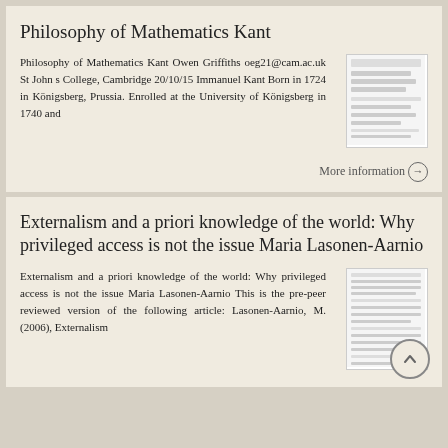Philosophy of Mathematics Kant
Philosophy of Mathematics Kant Owen Griffiths oeg21@cam.ac.uk St John s College, Cambridge 20/10/15 Immanuel Kant Born in 1724 in Königsberg, Prussia. Enrolled at the University of Königsberg in 1740 and
[Figure (screenshot): Thumbnail image of a document page]
More information →
Externalism and a priori knowledge of the world: Why privileged access is not the issue Maria Lasonen-Aarnio
Externalism and a priori knowledge of the world: Why privileged access is not the issue Maria Lasonen-Aarnio This is the pre-peer reviewed version of the following article: Lasonen-Aarnio, M. (2006), Externalism
[Figure (screenshot): Thumbnail image of a document page]